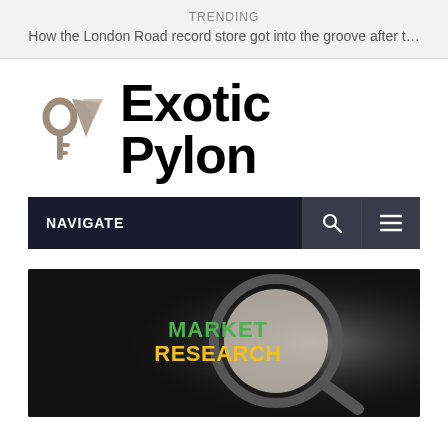TRENDING
How the London Road record store got into the groove after t…
[Figure (logo): Exotic Pylon website logo with stylized key/pylon icon on the left and bold text 'Exotic Pylon' on the right]
NAVIGATE
[Figure (photo): Dark background image with a magnifying glass highlighting 'MARKET RESEARCH' text in green and yellow block letters]